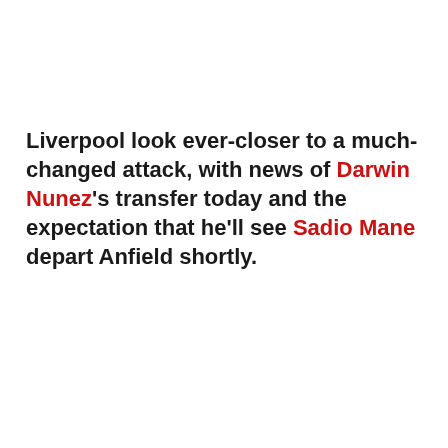Liverpool look ever-closer to a much-changed attack, with news of Darwin Nunez's transfer today and the expectation that he'll see Sadio Mane depart Anfield shortly.